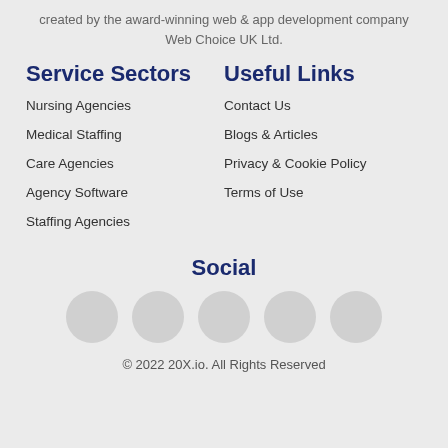created by the award-winning web & app development company Web Choice UK Ltd.
Service Sectors
Useful Links
Nursing Agencies
Contact Us
Medical Staffing
Blogs & Articles
Care Agencies
Privacy & Cookie Policy
Agency Software
Terms of Use
Staffing Agencies
Social
[Figure (other): Five circular social media icon placeholders]
© 2022 20X.io. All Rights Reserved